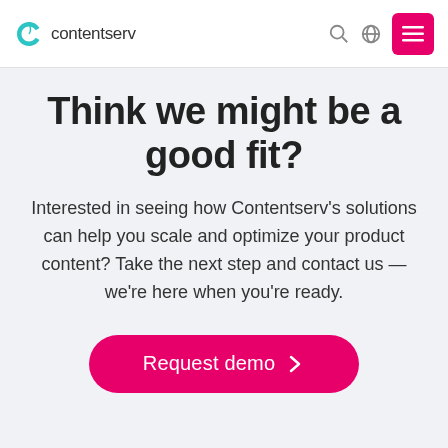contentserv
Think we might be a good fit?
Interested in seeing how Contentserv's solutions can help you scale and optimize your product content? Take the next step and contact us — we're here when you're ready.
Request demo